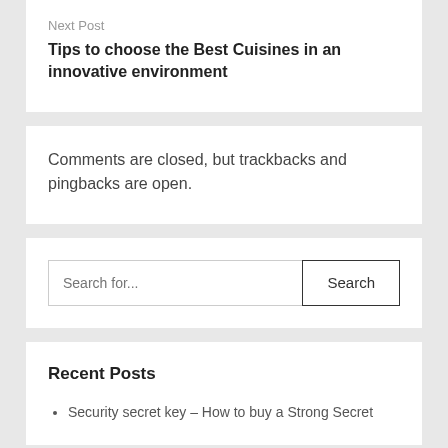Next Post
Tips to choose the Best Cuisines in an innovative environment
Comments are closed, but trackbacks and pingbacks are open.
Search for...
Recent Posts
Security secret key – How to buy a Strong Secret